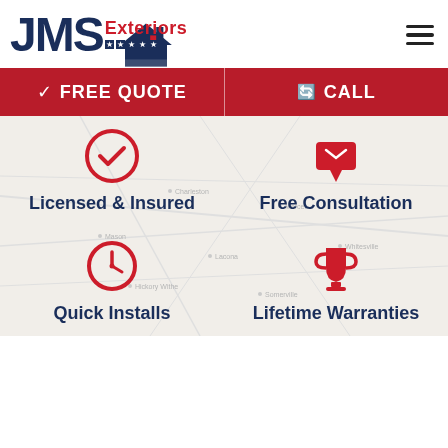[Figure (logo): JMS Exteriors logo with house icon, red 'Exteriors' text, and five stars on dark blue background]
[Figure (other): Hamburger/menu icon (three horizontal lines)]
✓ FREE QUOTE
⟳ CALL
[Figure (infographic): Map background with four feature icons and labels: Licensed & Insured (checkmark circle), Free Consultation (download/envelope icon), Quick Installs (clock icon), Lifetime Warranties (trophy icon)]
Licensed & Insured
Free Consultation
Quick Installs
Lifetime Warranties